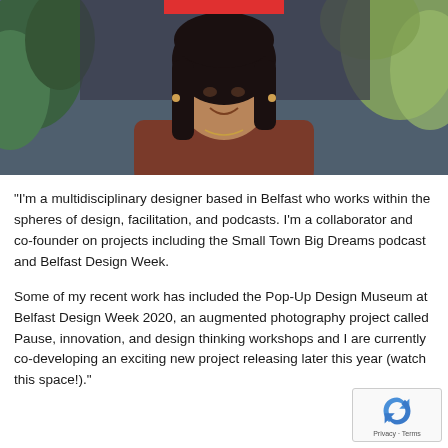[Figure (photo): Photo of a smiling woman with long dark hair wearing a rust/maroon top, seated in front of green foliage. A red redaction bar covers part of her face at the top.]
“I’m a multidisciplinary designer based in Belfast who works within the spheres of design, facilitation, and podcasts. I’m a collaborator and co-founder on projects including the Small Town Big Dreams podcast and Belfast Design Week.
Some of my recent work has included the Pop-Up Design Museum at Belfast Design Week 2020, an augmented photography project called Pause, innovation, and design thinking workshops and I are currently co-developing an exciting new project releasing later this year (watch this space!)."